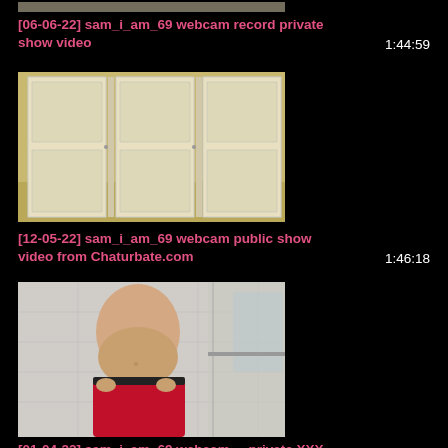[Figure (photo): Partial thumbnail at top of page, cropped]
[06-06-22] sam_i_am_69 webcam record private show video
1:44:59
[Figure (photo): Indoor room with white closet doors]
[12-05-22] sam_i_am_69 webcam public show video from Chaturbate.com
1:46:18
[Figure (photo): Person in red shorts in bathroom]
[01-04-22] sam_i_am_69 webcam ... private XXX